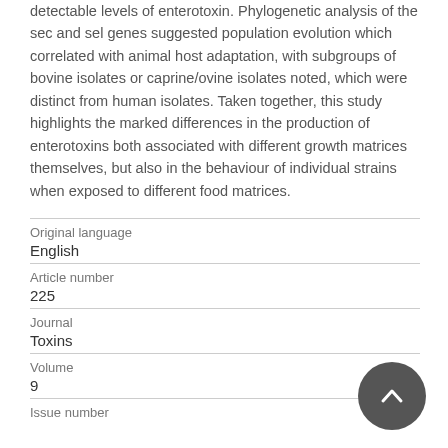detectable levels of enterotoxin. Phylogenetic analysis of the sec and sel genes suggested population evolution which correlated with animal host adaptation, with subgroups of bovine isolates or caprine/ovine isolates noted, which were distinct from human isolates. Taken together, this study highlights the marked differences in the production of enterotoxins both associated with different growth matrices themselves, but also in the behaviour of individual strains when exposed to different food matrices.
| Field | Value |
| --- | --- |
| Original language | English |
| Article number | 225 |
| Journal | Toxins |
| Volume | 9 |
| Issue number |  |